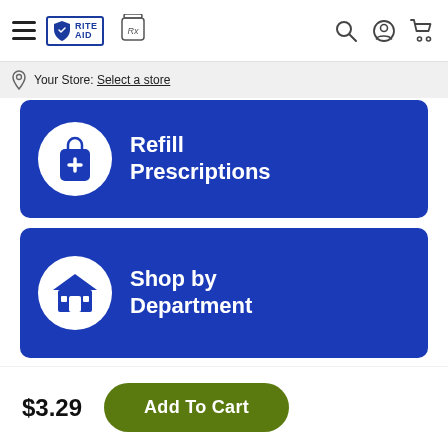Rite Aid navigation bar with hamburger menu, Rite Aid logo, Rx icon, search, account, and cart icons
Your Store: Select a store
[Figure (screenshot): Blue card button: Refill Prescriptions with a white circle containing a blue medicine bag with plus icon]
[Figure (screenshot): Blue card button: Shop by Department with a white circle containing a blue store/shop icon]
$3.29
Add To Cart